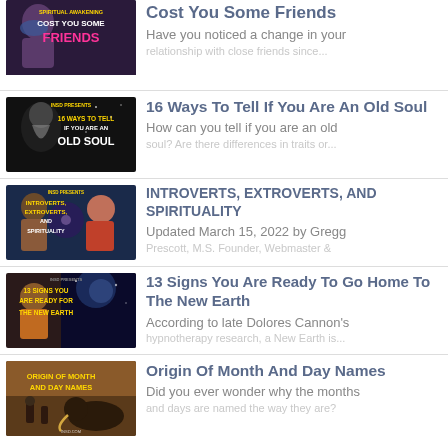[Figure (screenshot): Thumbnail for spiritual awakening article with text 'SPIRITUAL AWAKENING COST YOU SOME FRIENDS' on dark background with person image]
Cost You Some Friends
Have you noticed a change in your
[Figure (screenshot): Thumbnail for '16 Ways To Tell If You Are An Old Soul' with INSD Presents branding, elderly bearded figure on dark background]
16 Ways To Tell If You Are An Old Soul
How can you tell if you are an old soul? Are there differences in traits or...
[Figure (screenshot): Thumbnail for 'Introverts, Extroverts, And Spirituality' with INSD Presents branding, two people]
INTROVERTS, EXTROVERTS, AND SPIRITUALITY
Updated March 15, 2022 by Gregg Prescott, M.S. Founder, Webmaster &
[Figure (screenshot): Thumbnail for '13 Signs You Are Ready To Go Home To The New Earth' with INSD Presents branding]
13 Signs You Are Ready To Go Home To The New Earth
According to late Dolores Cannon's hypnotherapy research, a New Earth is...
[Figure (screenshot): Thumbnail for 'Origin Of Month And Day Names' with ancient/mythological imagery]
Origin Of Month And Day Names
Did you ever wonder why the months and days are named the way they are?